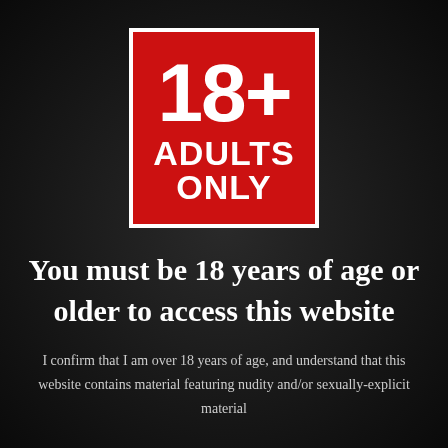[Figure (logo): Red square badge with white border showing '18+' in large bold text and 'ADULTS ONLY' below in bold white text on red background]
You must be 18 years of age or older to access this website
I confirm that I am over 18 years of age, and understand that this website contains material featuring nudity and/or sexually-explicit material